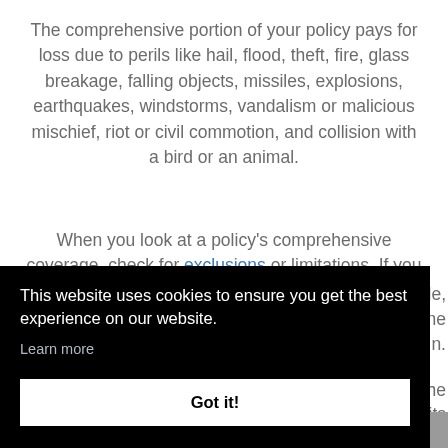The comprehensive portion of your policy pays for loss due to perils like hail, flood, theft, fire, glass breakage, falling objects, missiles, explosions, earthquakes, windstorms, vandalism or malicious mischief, riot or civil commotion, and collision with a bird or an animal.
When you look at a policy's comprehensive coverage, check for exclusions or limitations. If you have a [partially obscured by cookie banner] ple, [obscured] ne [obscured] n. [obscured] he [obscured] its [obscured] ted
This website uses cookies to ensure you get the best experience on our website. Learn more Got it!